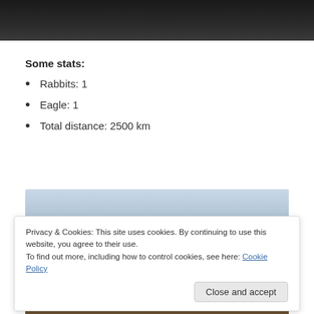[Figure (photo): Dark photo at top of page, appears to show dark interior or nighttime scene]
Some stats:
Rabbits: 1
Eagle: 1
Total distance: 2500 km
[Figure (photo): Outdoor photo showing sky with clouds]
Privacy & Cookies: This site uses cookies. By continuing to use this website, you agree to their use.
To find out more, including how to control cookies, see here: Cookie Policy
[Figure (photo): Outdoor ground-level photo showing rocks or gravel terrain]